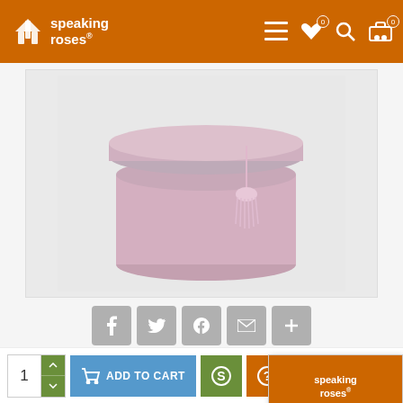speaking roses — navigation header with menu, wishlist, search, and cart icons
[Figure (photo): Pink cylindrical hat box with tassel decoration on light gray background]
[Figure (infographic): Social share buttons: Facebook, Twitter, Pinterest, Email, More]
This website uses cookies to ensure you get the best experience on our website.
528 VIEWS
STOCK: In Stock
MODEL: BX016
[Figure (logo): Speaking Roses logo orange square with roses icon and white text]
Speaking Roses
Preferences    Accept
1 [qty] ADD TO CART [S button] [? button] [heart] [return]